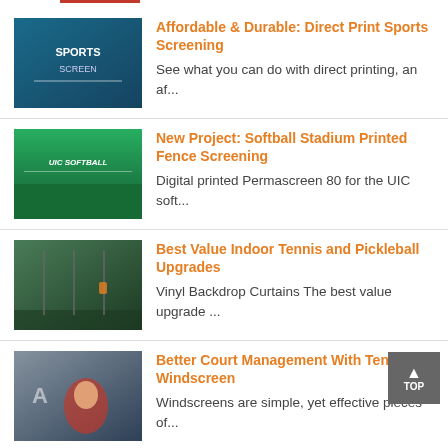Affordable & Durable: Direct Print Sports Screening
See what you can do with direct printing, an af...
New Project: Softball Stadium Printed Fence Screening
Digital printed Permascreen 80 for the UIC soft...
Best Value Indoor Tennis and Pickleball Upgrades
Vinyl Backdrop Curtains The best value upgrade ...
Better Court Management With Tennis Windscreen
Windscreens are simple, yet effective pieces of...